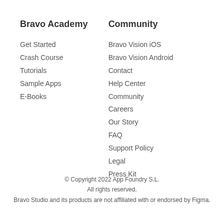Bravo Academy
Get Started
Crash Course
Tutorials
Sample Apps
E-Books
Community
Bravo Vision iOS
Bravo Vision Android
Contact
Help Center
Community
Careers
Our Story
FAQ
Support Policy
Legal
Press Kit
© Copyright 2022 App Foundry S.L.
All rights reserved.
Bravo Studio and its products are not affiliated with or endorsed by Figma.